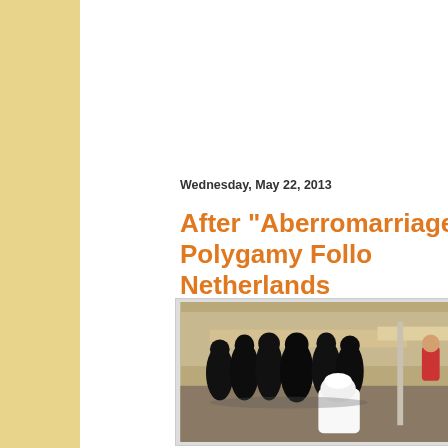Wednesday, May 22, 2013
After "Aberromarriage" Polygamy Follo Netherlands
[Figure (photo): Group of women in black abaya and niqab standing in a public square, seen from behind, with a man in white clothing in the foreground and other people in the background.]